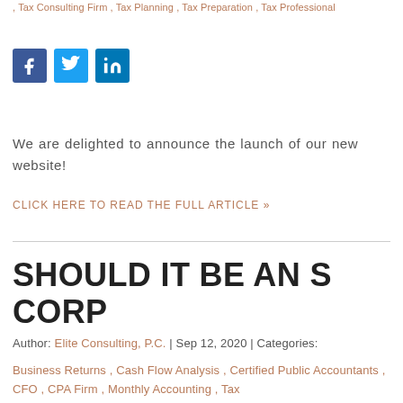, Tax Consulting Firm , Tax Planning , Tax Preparation , Tax Professional
[Figure (other): Social media icons: Facebook (blue square with f), Twitter (light blue square with bird), LinkedIn (teal square with 'in')]
We are delighted to announce the launch of our new website!
CLICK HERE TO READ THE FULL ARTICLE »
SHOULD IT BE AN S CORP
Author: Elite Consulting, P.C. | Sep 12, 2020 | Categories:
Business Returns , Cash Flow Analysis , Certified Public Accountants , CFO , CPA Firm , Monthly Accounting , Tax